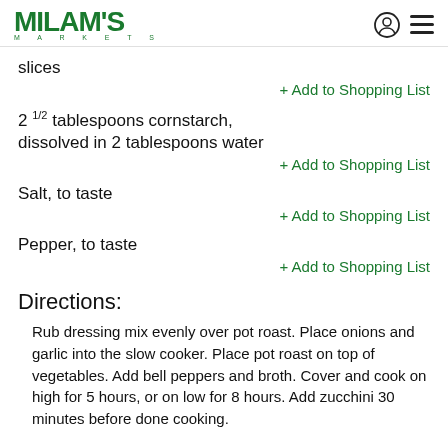MILAM'S MARKETS
slices
+ Add to Shopping List
2 1/2 tablespoons cornstarch, dissolved in 2 tablespoons water
+ Add to Shopping List
Salt, to taste
+ Add to Shopping List
Pepper, to taste
+ Add to Shopping List
Directions:
Rub dressing mix evenly over pot roast. Place onions and garlic into the slow cooker. Place pot roast on top of vegetables. Add bell peppers and broth. Cover and cook on high for 5 hours, or on low for 8 hours. Add zucchini 30 minutes before done cooking.